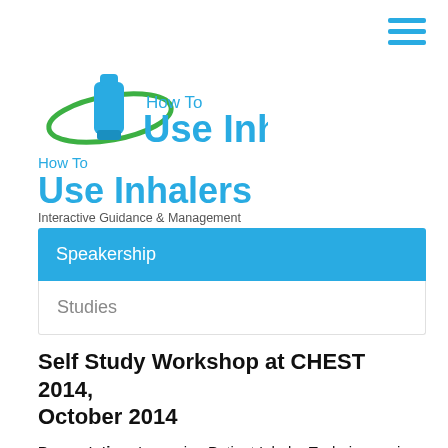[Figure (logo): How To Use Inhalers logo with blue inhaler icon and green orbit ellipse, text 'How To Use Inhalers Interactive Guidance & Management']
Speakership
Studies
Self Study Workshop at CHEST 2014, October 2014
Presentation: Improving Patient Inhaler Technique using Online Technology and Mobile Applications
Location: Austin, USA